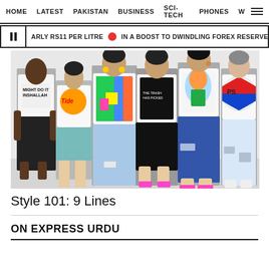HOME  LATEST  PAKISTAN  BUSINESS  SCI-TECH  PHONES  W
ARLY RS11 PER LITRE  IN A BOOST TO DWINDLING FOREX RESERVES, SBP RECEI
[Figure (photo): Six models wearing graphic t-shirts with various prints including Nike parody 'MIGHT DO IT INSHALLAH', Tide detergent logo, colorful graphic tees, and a Pepsi logo tee. They wear jeans, shorts, and casual bottoms in a studio photo shoot.]
Style 101: 9 Lines
ON EXPRESS URDU